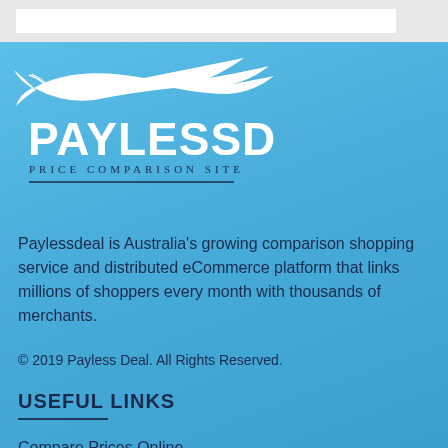[Figure (logo): Paylessdeal logo with bird/fish illustration and text PAYLESSDEAL Price Comparison Site]
Paylessdeal is Australia's growing comparison shopping service and distributed eCommerce platform that links millions of shoppers every month with thousands of merchants.
© 2019 Payless Deal. All Rights Reserved.
USEFUL LINKS
Compare Prices Online
Price Finder Tool
About Us